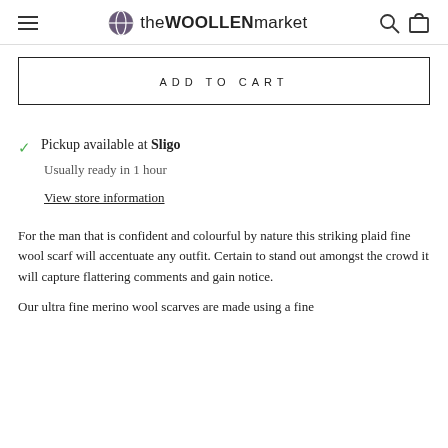the WOOLLEN market
ADD TO CART
Pickup available at Sligo
Usually ready in 1 hour
View store information
For the man that is confident and colourful by nature this striking plaid fine wool scarf will accentuate any outfit. Certain to stand out amongst the crowd it will capture flattering comments and gain notice.
Our ultra fine merino wool scarves are made using a fine